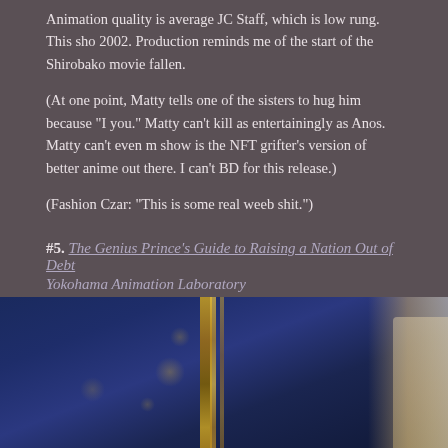Animation quality is average JC Staff, which is low rung. This sho 2002. Production reminds me of the start of the Shirobako movie fallen.
(At one point, Matty tells one of the sisters to hug him because "I you." Matty can't kill as entertainingly as Anos. Matty can't even m show is the NFT grifter's version of better anime out there. I can't BD for this release.)
(Fashion Czar: "This is some real weeb shit.")
#5. The Genius Prince's Guide to Raising a Nation Out of Debt
Yokohama Animation Laboratory
[Figure (photo): Screenshot from an anime showing a dark blue background with golden bokeh column decorations and a partially visible blonde character on the right edge.]